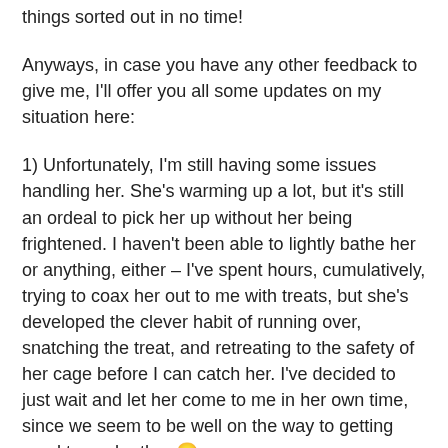things sorted out in no time!
Anyways, in case you have any other feedback to give me, I'll offer you all some updates on my situation here:
1) Unfortunately, I'm still having some issues handling her. She's warming up a lot, but it's still an ordeal to pick her up without her being frightened. I haven't been able to lightly bathe her or anything, either – I've spent hours, cumulatively, trying to coax her out to me with treats, but she's developed the clever habit of running over, snatching the treat, and retreating to the safety of her cage before I can catch her. I've decided to just wait and let her come to me in her own time, since we seem to be well on the way to getting used to each other 🙂
2) The issue of jumping isn't a problem anymore. It so turns out she just wasn't used to the freedom